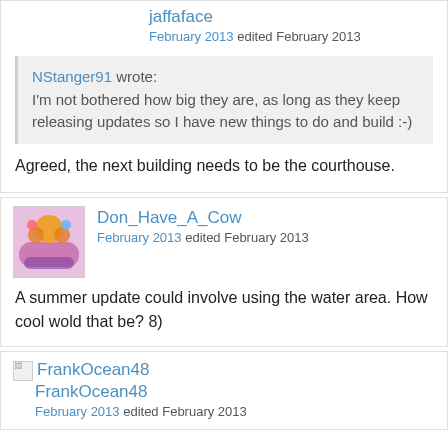jaffaface
February 2013 edited February 2013
NStanger91 wrote: I'm not bothered how big they are, as long as they keep releasing updates so I have new things to do and build :-)
Agreed, the next building needs to be the courthouse.
Don_Have_A_Cow
February 2013 edited February 2013
A summer update could involve using the water area. How cool wold that be? 8)
FrankOcean48
February 2013 edited February 2013